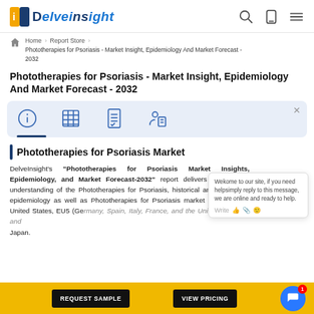DELVEINSIGHT
Home > Report Store > Phototherapies for Psoriasis - Market Insight, Epidemiology And Market Forecast - 2032
Phototherapies for Psoriasis - Market Insight, Epidemiology And Market Forecast - 2032
[Figure (infographic): Icon row card with four tab icons: info circle, table grid, checklist, person with document. Blue background card with first tab underlined.]
Phototherapies for Psoriasis Market
DelveInsight's "Phototherapies for Psoriasis Market Insights, Epidemiology, and Market Forecast-2032" report delivers an in-depth understanding of the Phototherapies for Psoriasis, historical and forecasted epidemiology as well as Phototherapies for Psoriasis market trends in the United States, EU5 (Germany, Spain, Italy, France, and the United Kingdom) and Japan.